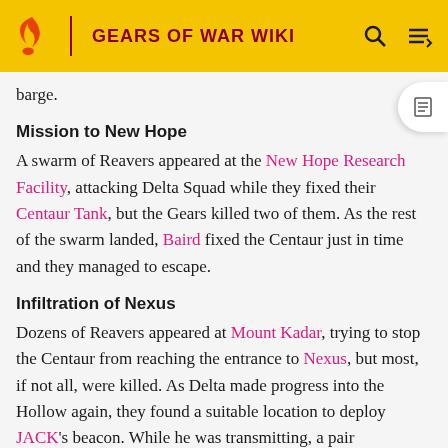GEARS OF WAR WIKI
barge.
Mission to New Hope
A swarm of Reavers appeared at the New Hope Research Facility, attacking Delta Squad while they fixed their Centaur Tank, but the Gears killed two of them. As the rest of the swarm landed, Baird fixed the Centaur just in time and they managed to escape.
Infiltration of Nexus
Dozens of Reavers appeared at Mount Kadar, trying to stop the Centaur from reaching the entrance to Nexus, but most, if not all, were killed. As Delta made progress into the Hollow again, they found a suitable location to deploy JACK's beacon. While he was transmitting, a pair